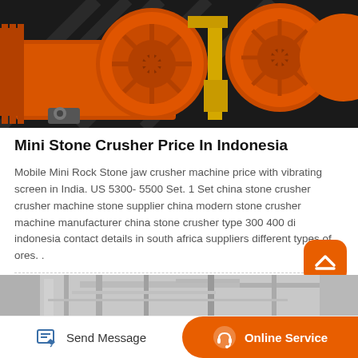[Figure (photo): Orange heavy-duty stone crusher/jaw crusher machine with large gears and circular flywheel components, industrial equipment photo]
Mini Stone Crusher Price In Indonesia
Mobile Mini Rock Stone jaw crusher machine price with vibrating screen in India. US 5300- 5500 Set. 1 Set china stone crusher crusher machine stone supplier china modern stone crusher machine manufacturer china stone crusher type 300 400 di indonesia contact details in south africa suppliers different types of ores. .
[Figure (photo): Partial view of industrial machinery or building structure, gray tones, partially visible at bottom of page]